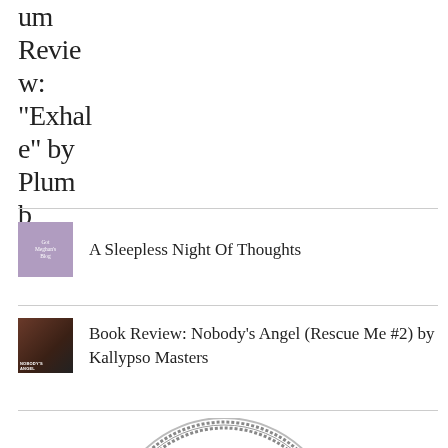um Review: "Exhale" by Plumb
A Sleepless Night Of Thoughts
Book Review: Nobody's Angel (Rescue Me #2) by Kallypso Masters
[Figure (illustration): Circular decorative badge/seal with ornate border and cursive text reading 'the']